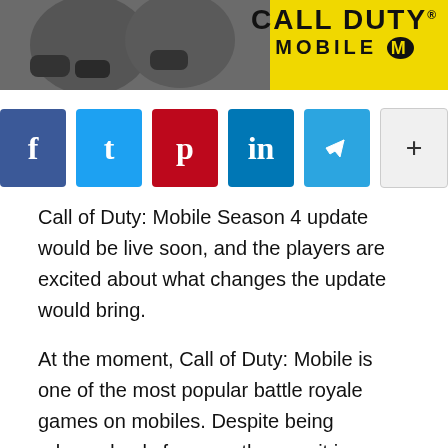[Figure (screenshot): Call of Duty Mobile logo banner header with game characters on left (grey background) and yellow background with stylized CALL DUTY MOBILE logo on right]
[Figure (infographic): Social sharing buttons row: Facebook (blue), Twitter (cyan), Pinterest (red), LinkedIn (blue), Telegram (light blue), More/Plus (grey/white)]
Call of Duty: Mobile Season 4 update would be live soon, and the players are excited about what changes the update would bring.
At the moment, Call of Duty: Mobile is one of the most popular battle royale games on mobiles. Despite being released only four months ago, it is as popular as PUBG mobile, which made its debut in 2018.
Leaks for Season 4 are plenty, and we are getting new details frequently. Data mining techniques have proven to find out the secrets lurking in the game data effectively. Most of the time,